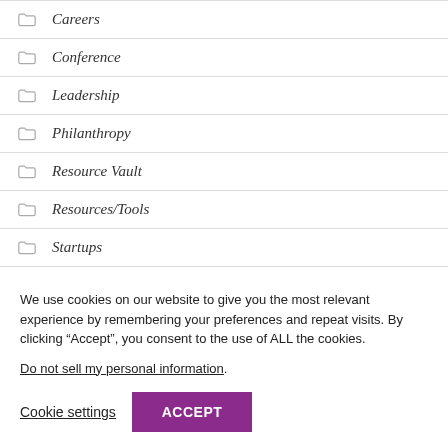Careers
Conference
Leadership
Philanthropy
Resource Vault
Resources/Tools
Startups
We use cookies on our website to give you the most relevant experience by remembering your preferences and repeat visits. By clicking “Accept”, you consent to the use of ALL the cookies.
Do not sell my personal information.
Cookie settings  ACCEPT